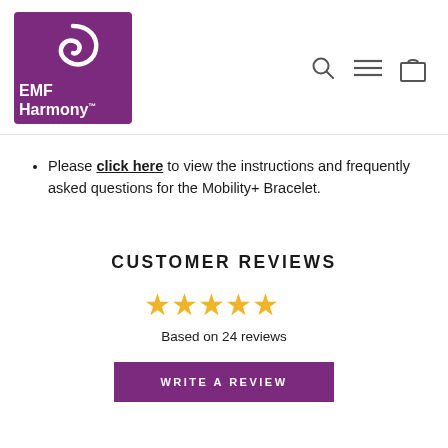[Figure (logo): EMF Harmony logo: purple square with white spiral icon and white text 'EMF Harmony']
[Figure (other): Navigation icons: search (magnifying glass), hamburger menu, and shopping bag]
Please click here to view the instructions and frequently asked questions for the Mobility+ Bracelet.
CUSTOMER REVIEWS
[Figure (other): Five gold star rating icons]
Based on 24 reviews
WRITE A REVIEW